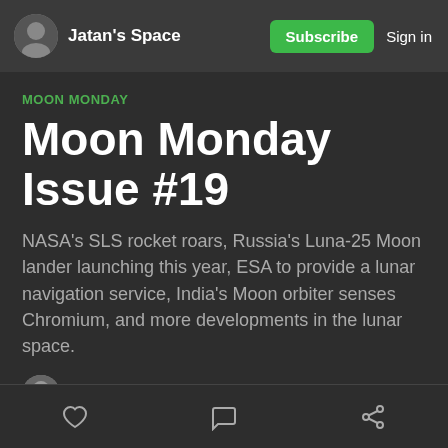Jatan's Space  Subscribe  Sign in
MOON MONDAY
Moon Monday Issue #19
NASA's SLS rocket roars, Russia's Luna-25 Moon lander launching this year, ESA to provide a lunar navigation service, India's Moon orbiter senses Chromium, and more developments in the lunar space.
Jatan Mehta